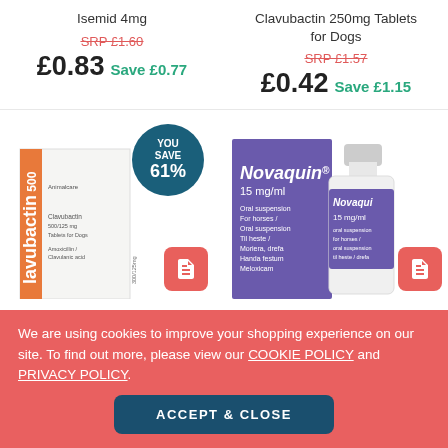Isemid 4mg
Clavubactin 250mg Tablets for Dogs
SRP £1.60
£0.83 Save £0.77
SRP £1.57
£0.42 Save £1.15
[Figure (photo): Clavubactin 500 box (Amoxicillin/Clavulanic acid tablets for dogs) with a YOU SAVE 61% badge and a pink document icon button]
[Figure (photo): Novaquin 15 mg/ml oral suspension box and bottle for horses]
We are using cookies to improve your shopping experience on our site. To find out more, please view our COOKIE POLICY and PRIVACY POLICY.
ACCEPT & CLOSE